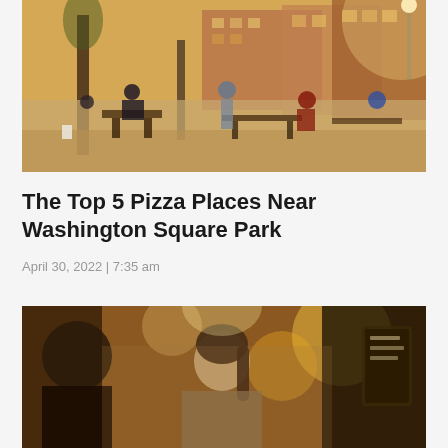[Figure (photo): Outdoor park scene with people sitting at picnic tables and benches in warm golden sunlight, brick buildings visible in background, trees with bare branches]
The Top 5 Pizza Places Near Washington Square Park
April 30, 2022 | 7:35 am
[Figure (photo): Street scene with people walking, warm golden bokeh lighting, a chalkboard sign visible on the right]